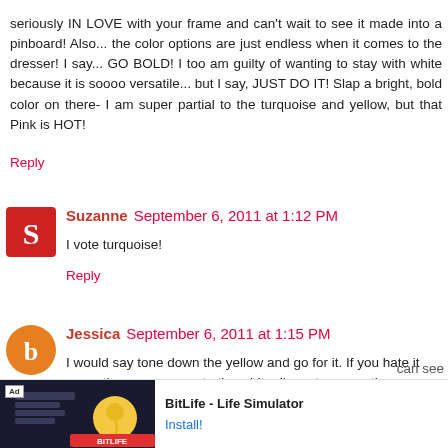seriously IN LOVE with your frame and can't wait to see it made into a pinboard! Also... the color options are just endless when it comes to the dresser! I say... GO BOLD! I too am guilty of wanting to stay with white because it is soooo versatile... but I say, JUST DO IT! Slap a bright, bold color on there- I am super partial to the turquoise and yellow, but that Pink is HOT!
Reply
Suzanne  September 6, 2011 at 1:12 PM
I vote turquoise!
Reply
Jessica  September 6, 2011 at 1:15 PM
I would say tone down the yellow and go for it. If you hate it soon, then you can go to the white. I'm not so sure the
[Figure (screenshot): BitLife - Life Simulator advertisement banner at bottom of page]